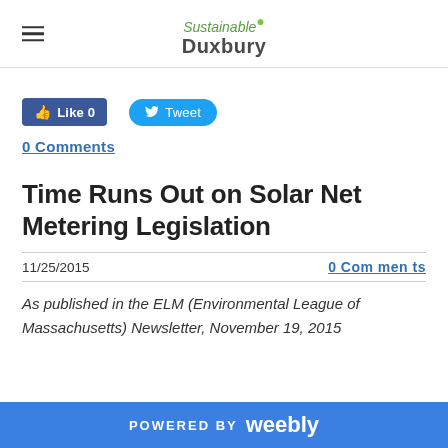Sustainable Duxbury
[Figure (screenshot): Facebook Like button showing Like 0 and Twitter Tweet button]
0 Comments
Time Runs Out on Solar Net Metering Legislation
11/25/2015
0 Comments
As published in the ELM (Environmental League of Massachusetts) Newsletter, November 19, 2015
POWERED BY weebly